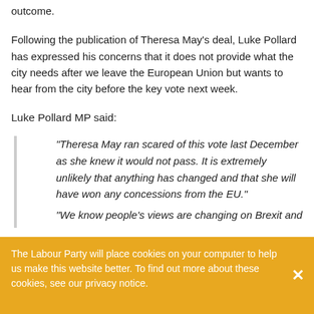outcome.
Following the publication of Theresa May's deal, Luke Pollard has expressed his concerns that it does not provide what the city needs after we leave the European Union but wants to hear from the city before the key vote next week.
Luke Pollard MP said:
“Theresa May ran scared of this vote last December as she knew it would not pass. It is extremely unlikely that anything has changed and that she will have won any concessions from the EU.” “We know people’s views are changing on Brexit and
The Labour Party will place cookies on your computer to help us make this website better. To find out more about these cookies, see our privacy notice.